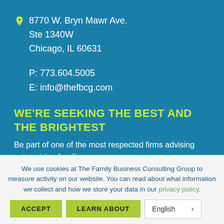8770 W. Bryn Mawr Ave.
Ste 1340W
Chicago, IL 60631
P: 773.604.5005
E: info@thefbcg.com
WE'RE SEEKING THE BEST AND THE BRIGHTEST
Be part of one of the most respected firms advising enterprising families.
We use cookies at The Family Business Consulting Group to measure activity on our website. You can read about what information we collect and how we store your data in our privacy policy.
ACCEPT
LEARN ABOUT
English >